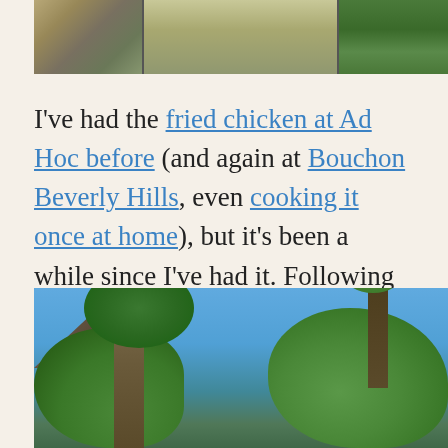[Figure (photo): Outdoor scene with green grass, a pathway, and trees visible from above or at a distance. Appears to be a picnic or park area.]
I've had the fried chicken at Ad Hoc before (and again at Bouchon Beverly Hills, even cooking it once at home), but it's been a while since I've had it. Following our dinner at The French Laundry, we came here for a quick meal before leaving town. We picked up a bucket of fried chicken and an order of pork ribs to eat on the picnic tables. It was a beautiful day to be outside with a bucket of fried chicken.
[Figure (photo): Outdoor photo showing blue sky, large trees including a palm tree, and a shaded structure in the lower left corner. Ad Hoc restaurant outdoor seating area.]